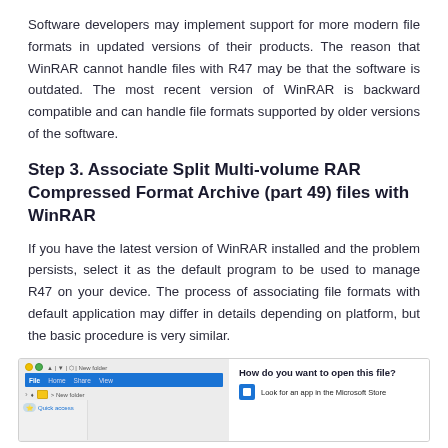Software developers may implement support for more modern file formats in updated versions of their products. The reason that WinRAR cannot handle files with R47 may be that the software is outdated. The most recent version of WinRAR is backward compatible and can handle file formats supported by older versions of the software.
Step 3. Associate Split Multi-volume RAR Compressed Format Archive (part 49) files with WinRAR
If you have the latest version of WinRAR installed and the problem persists, select it as the default program to be used to manage R47 on your device. The process of associating file formats with default application may differ in details depending on platform, but the basic procedure is very similar.
[Figure (screenshot): Screenshot of Windows file explorer on the left and a 'How do you want to open this file?' dialog on the right, showing 'Look for an app in the Microsoft Store' option with a blue store icon.]